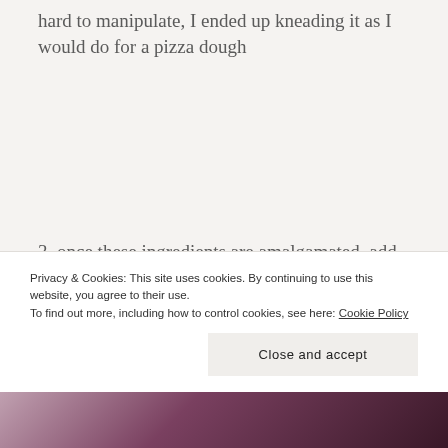hard to manipulate, I ended up kneading it as I would do for a pizza dough
3. once these ingredients are amalgamated, add the baking powder and keep kneading
4. line a tray (or grease it with butter if you prefer), and put your mixture, spreading it evenly
Privacy & Cookies: This site uses cookies. By continuing to use this website, you agree to their use.
To find out more, including how to control cookies, see here: Cookie Policy
Close and accept
[Figure (photo): Partial photo strip at bottom of page showing dark reddish/purple fabric or background]